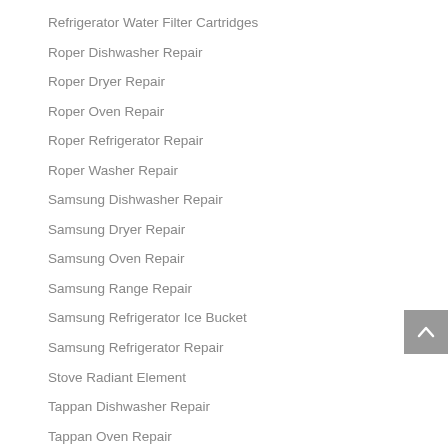Refrigerator Water Filter Cartridges
Roper Dishwasher Repair
Roper Dryer Repair
Roper Oven Repair
Roper Refrigerator Repair
Roper Washer Repair
Samsung Dishwasher Repair
Samsung Dryer Repair
Samsung Oven Repair
Samsung Range Repair
Samsung Refrigerator Ice Bucket
Samsung Refrigerator Repair
Stove Radiant Element
Tappan Dishwasher Repair
Tappan Oven Repair